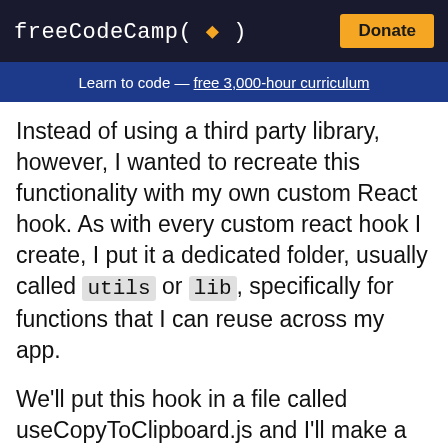freeCodeCamp(🔥)  Donate
Learn to code — free 3,000-hour curriculum
Instead of using a third party library, however, I wanted to recreate this functionality with my own custom React hook. As with every custom react hook I create, I put it a dedicated folder, usually called utils or lib, specifically for functions that I can reuse across my app.
We'll put this hook in a file called useCopyToClipboard.js and I'll make a function of the same name.
There are various ways that we can copy some